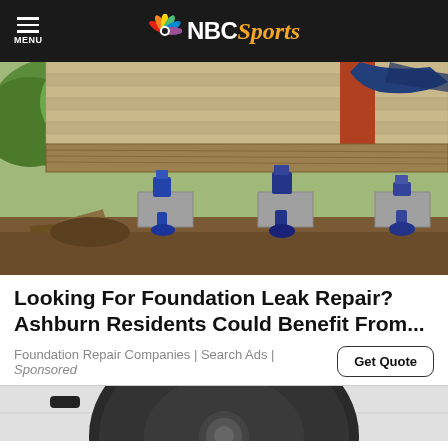NBC Sports
[Figure (photo): Foundation repair photo showing house being lifted with hydraulic jacks on concrete blocks, with dirt ground below siding]
Looking For Foundation Leak Repair? Ashburn Residents Could Benefit From...
Foundation Repair Companies | Search Ads | Sponsored
[Figure (photo): Partially visible photo of a Roomba or similar circular robot vacuum on a tiled floor]